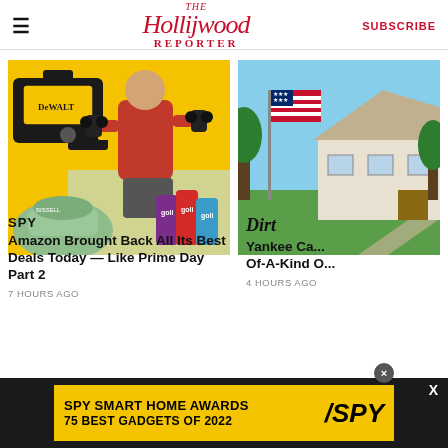The Hollywood Reporter | SUBSCRIBE
[Figure (photo): Promotional image showing DeWalt tools, a man in a red shirt lifting dumbbells, a Bissell cleaner, and Goli drink cans on yellow background]
SPY
Amazon Brought Back All Its Best Deals Today — Like Prime Day Part 2
7 HOURS AGO
[Figure (photo): Photo of a house with American flag on a flagpole, green lawn and blue sky]
Dirt
Yankee Ca... Of-A-Kind O...
4 HOURS AGO
[Figure (screenshot): Advertisement banner: SPY SMART HOME AWARDS 75 BEST GADGETS OF 2022 on yellow background with SPY logo]